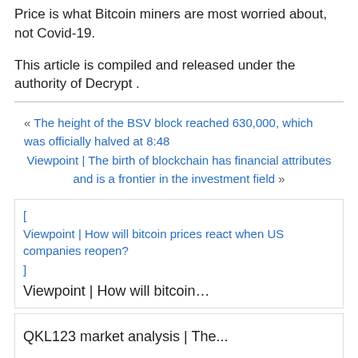Price is what Bitcoin miners are most worried about, not Covid-19.
This article is compiled and released under the authority of Decrypt .
« The height of the BSV block reached 630,000, which was officially halved at 8:48
Viewpoint | The birth of blockchain has financial attributes and is a frontier in the investment field »
Viewpoint | How will bitcoin prices react when US companies reopen?
Viewpoint | How will bitcoin…
QKL123 market analysis | The...
The Secret History of Bitcoin: How much energy does Bitcoin consume?
The Secret History of Bitcoin:…